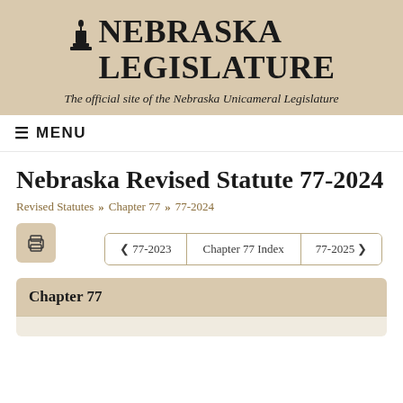NEBRASKA LEGISLATURE
The official site of the Nebraska Unicameral Legislature
≡ MENU
Nebraska Revised Statute 77-2024
Revised Statutes » Chapter 77 » 77-2024
[Figure (other): Print icon button]
< 77-2023  |  Chapter 77 Index  |  77-2025 >
Chapter 77